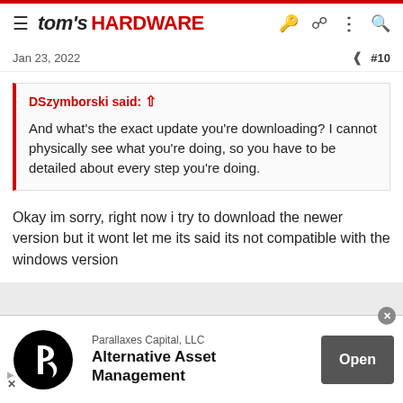tom's HARDWARE
Jan 23, 2022   #10
DSzymborski said: ↑

And what's the exact update you're downloading? I cannot physically see what you're doing, so you have to be detailed about every step you're doing.
Okay im sorry, right now i try to download the newer version but it wont let me its said its not compatible with the windows version
0
[Figure (other): Advertisement banner: Parallaxes Capital, LLC - Alternative Asset Management with Open button]